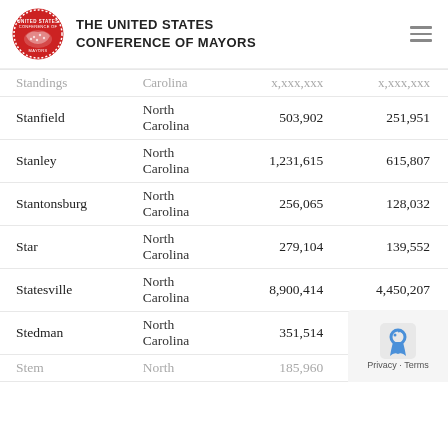THE UNITED STATES CONFERENCE OF MAYORS
| City | State | Col3 | Col4 |
| --- | --- | --- | --- |
| Stanfield | North Carolina | 503,902 | 251,951 |
| Stanley | North Carolina | 1,231,615 | 615,807 |
| Stantonsburg | North Carolina | 256,065 | 128,032 |
| Star | North Carolina | 279,104 | 139,552 |
| Statesville | North Carolina | 8,900,414 | 4,450,207 |
| Stedman | North Carolina | 351,514 | 175,757 |
| Stem | North Carolina | 185,960 | 92,980 |